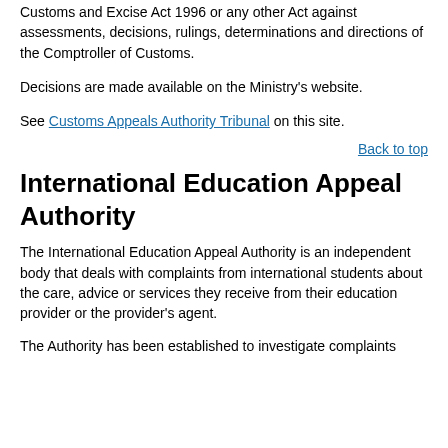Customs and Excise Act 1996 or any other Act against assessments, decisions, rulings, determinations and directions of the Comptroller of Customs.
Decisions are made available on the Ministry's website.
See Customs Appeals Authority Tribunal on this site.
Back to top
International Education Appeal Authority
The International Education Appeal Authority is an independent body that deals with complaints from international students about the care, advice or services they receive from their education provider or the provider's agent.
The Authority has been established to investigate complaints